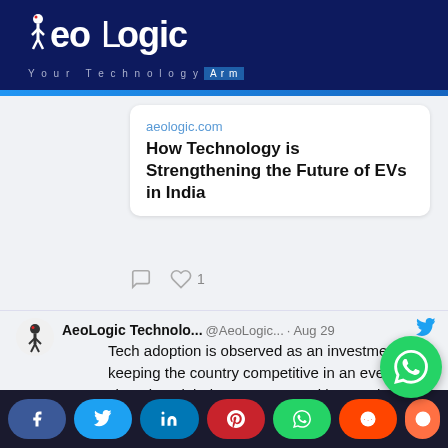[Figure (logo): AeoLogic logo with text 'Your Technology Arm' on dark navy background]
aeologic.com
How Technology is Strengthening the Future of EVs in India
AeoLogic Technolo... @AeoLogic... · Aug 29
Tech adoption is observed as an investment in keeping the country competitive in an ever-changing global economy. Read how technology is improving the various process in Government and Public sectors.
lnkd.in/d42m2ZXw
#technology #government #economy #Blockch...
[Figure (screenshot): Social media share bar with Facebook, Twitter, LinkedIn, Pinterest, WhatsApp, Reddit buttons]